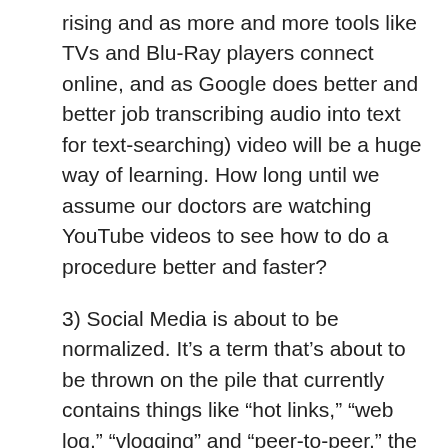rising and as more and more tools like TVs and Blu-Ray players connect online, and as Google does better and better job transcribing audio into text for text-searching) video will be a huge way of learning. How long until we assume our doctors are watching YouTube videos to see how to do a procedure better and faster?
3) Social Media is about to be normalized. It's a term that's about to be thrown on the pile that currently contains things like “hot links,” “web log,” “vlogging” and “peer-to-peer,” the technology is about to be absorbed into the idea of what we call “the web” or “online.” The ability to comment on someone’s comment is social (just like email and IM), but it’s all glommed